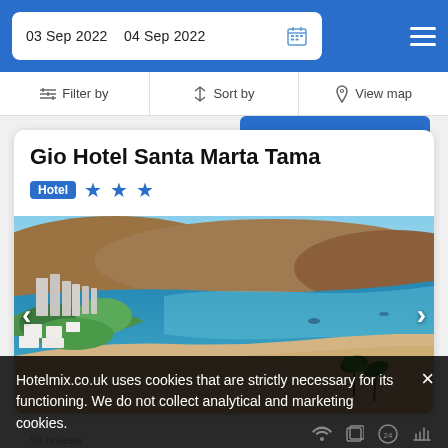03 Sep 2022   04 Sep 2022
Filter by   Sort by   View map
Gio Hotel Santa Marta Tama
Hotel ★★★
[Figure (photo): Aerial view of Santa Marta beach coastline with blue ocean, white sand beach, tropical trees, and city buildings in the background]
Hotelmix.co.uk uses cookies that are strictly necessary for its functioning. We do not collect analytical and marketing cookies.
93 reviews